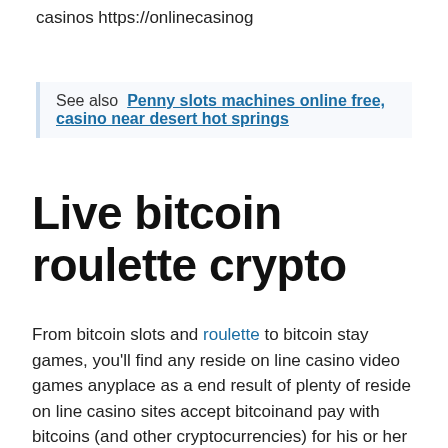casinos https://onlinecasinog
See also  Penny slots machines online free, casino near desert hot springs
Live bitcoin roulette crypto
From bitcoin slots and roulette to bitcoin stay games, you'll find any reside on line casino video games anyplace as a end result of plenty of reside on line casino sites accept bitcoinand pay with bitcoins (and other cryptocurrencies) for his or her transactions.
If you're looking for completely different bitcoins slots